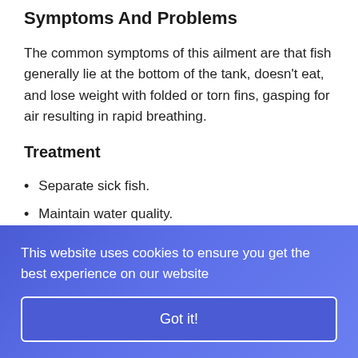Symptoms And Problems
The common symptoms of this ailment are that fish generally lie at the bottom of the tank, doesn't eat, and lose weight with folded or torn fins, gasping for air resulting in rapid breathing.
Treatment
Separate sick fish.
Maintain water quality.
This website uses cookies to ensure you get the best experience on our website
Got it!